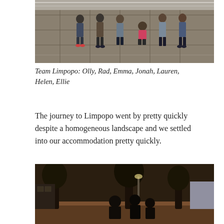[Figure (photo): Group photo of people standing on a tiled plaza or walkway area, seen from a distance, with railings in the background.]
Team Limpopo: Olly, Rad, Emma, Jonah, Lauren, Helen, Ellie
The journey to Limpopo went by pretty quickly despite a homogeneous landscape and we settled into our accommodation pretty quickly.
[Figure (photo): Dark outdoor scene showing silhouettes of people and trees in what appears to be an accommodation courtyard or garden area at dusk.]